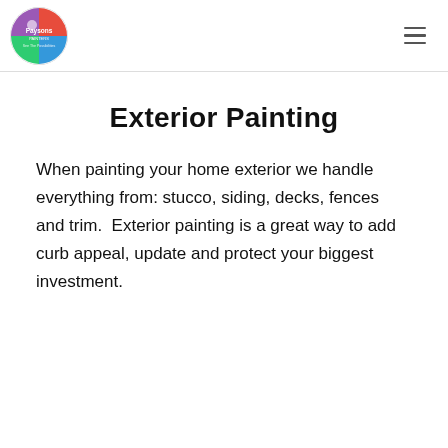Paysons Painters
Exterior Painting
When painting your home exterior we handle everything from: stucco, siding, decks, fences and trim.  Exterior painting is a great way to add curb appeal, update and protect your biggest investment.